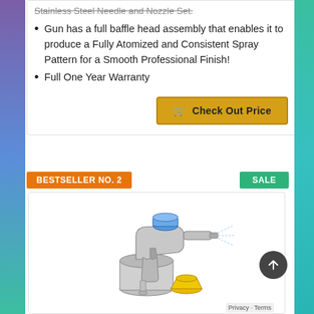Stainless Steel Needle and Nozzle Set.
Gun has a full baffle head assembly that enables it to produce a Fully Atomized and Consistent Spray Pattern for a Smooth Professional Finish!
Full One Year Warranty
Check Out Price
BESTSELLER NO. 2
SALE
[Figure (photo): HVLP spray gun with siphon cup and yellow funnel cup accessory]